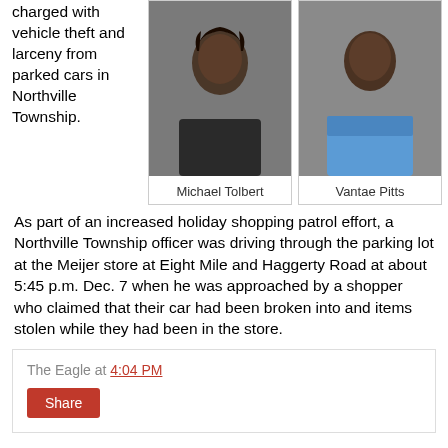charged with vehicle theft and larceny from parked cars in Northville Township.
[Figure (photo): Mugshot of Michael Tolbert]
Michael Tolbert
[Figure (photo): Mugshot of Vantae Pitts]
Vantae Pitts
As part of an increased holiday shopping patrol effort, a Northville Township officer was driving through the parking lot at the Meijer store at Eight Mile and Haggerty Road at about 5:45 p.m. Dec. 7 when he was approached by a shopper who claimed that their car had been broken into and items stolen while they had been in the store.
The Eagle at 4:04 PM
Share
Plymouth murder-suicide investigation continues